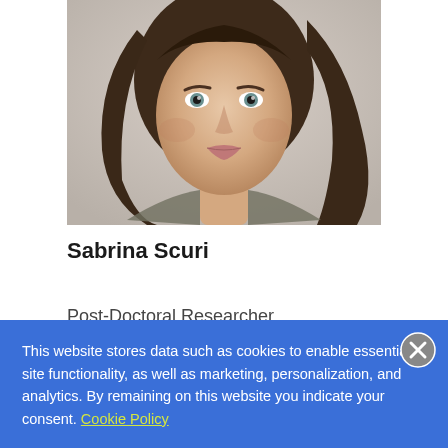[Figure (photo): Headshot photo of a young woman with long brown hair and light eyes, looking at the camera against a light gray background.]
Sabrina Scuri
Post-Doctoral Researcher
This website stores data such as cookies to enable essential site functionality, as well as marketing, personalization, and analytics. By remaining on this website you indicate your consent. Cookie Policy